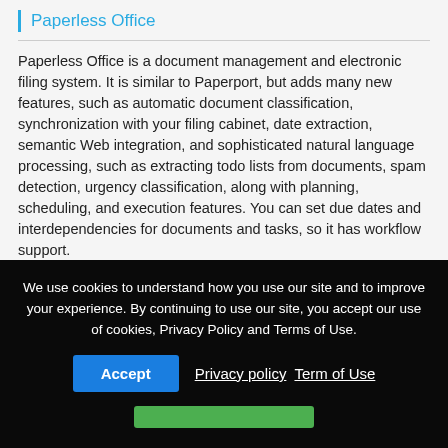Paperless Office
Paperless Office is a document management and electronic filing system. It is similar to Paperport, but adds many new features, such as automatic document classification, synchronization with your filing cabinet, date extraction, semantic Web integration, and sophisticated natural language processing, such as extracting todo lists from documents, spam detection, urgency classification, along with planning, scheduling, and execution features. You can set due dates and interdependencies for documents and tasks, so it has workflow support.
(Machine Translation)
Detail info
[Figure (screenshot): Partial preview box with inner input field visible]
We use cookies to understand how you use our site and to improve your experience. By continuing to use our site, you accept our use of cookies, Privacy Policy and Terms of Use. Accept  Privacy policy  Term of Use